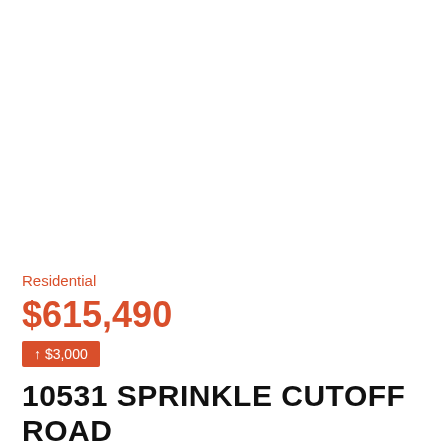Residential
$615,490
↑ $3,000
10531 SPRINKLE CUTOFF ROAD